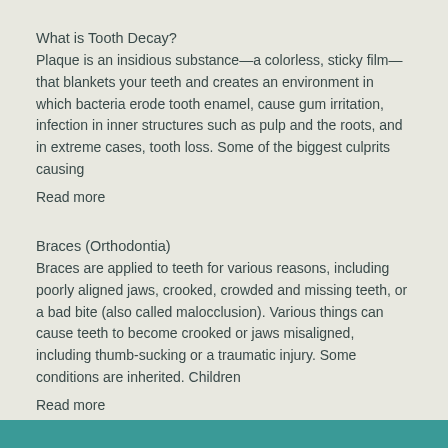What is Tooth Decay?
Plaque is an insidious substance—a colorless, sticky film—that blankets your teeth and creates an environment in which bacteria erode tooth enamel, cause gum irritation, infection in inner structures such as pulp and the roots, and in extreme cases, tooth loss. Some of the biggest culprits causing
Read more
Braces (Orthodontia)
Braces are applied to teeth for various reasons, including poorly aligned jaws, crooked, crowded and missing teeth, or a bad bite (also called malocclusion). Various things can cause teeth to become crooked or jaws misaligned, including thumb-sucking or a traumatic injury. Some conditions are inherited. Children
Read more